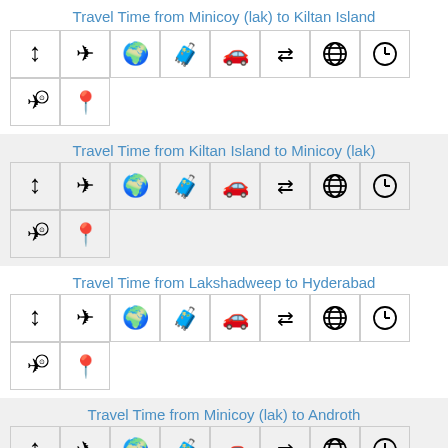Travel Time from Minicoy (lak) to Kiltan Island
[Figure (infographic): Grid of travel-related icons: distance, airplane, globe, luggage, car, transfer arrows, world, clock, flight-time, location pin]
Travel Time from Kiltan Island to Minicoy (lak)
[Figure (infographic): Grid of travel-related icons: distance, airplane, globe, luggage, car, transfer arrows, world, clock, flight-time, location pin]
Travel Time from Lakshadweep to Hyderabad
[Figure (infographic): Grid of travel-related icons: distance, airplane, globe, luggage, car, transfer arrows, world, clock, flight-time, location pin]
Travel Time from Minicoy (lak) to Androth
[Figure (infographic): Grid of travel-related icons: distance, airplane, globe, luggage, car, transfer arrows, world, clock, flight-time, location pin]